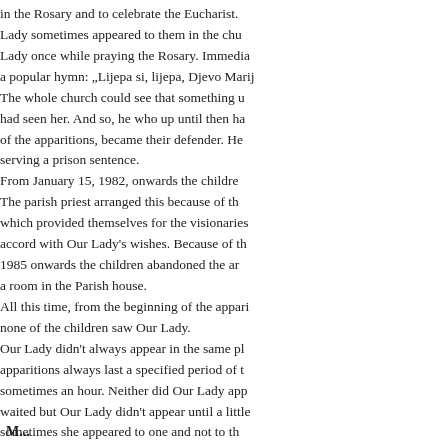in the Rosary and to celebrate the Eucharist. Lady sometimes appeared to them in the chu Lady once while praying the Rosary. Immedia a popular hymn: „Lijepa si, lijepa, Djevo Marij The whole church could see that something u had seen her. And so, he who up until then ha of the apparitions, became their defender. He serving a prison sentence. From January 15, 1982, onwards the childre The parish priest arranged this because of th which provided themselves for the visionaries accord with Our Lady's wishes. Because of th 1985 onwards the children abandoned the ar a room in the Parish house. All this time, from the beginning of the appari none of the children saw Our Lady. Our Lady didn't always appear in the same pl apparitions always last a specified period of t sometimes an hour. Neither did Our Lady app waited but Our Lady didn't appear until a little sometimes she appeared to one and not to th knew when she would appear, or if she woul visionaries, but to others also of different age that the apparitions are not a product of the i nor the prayer of a pilgrim or visionary, but m
M...